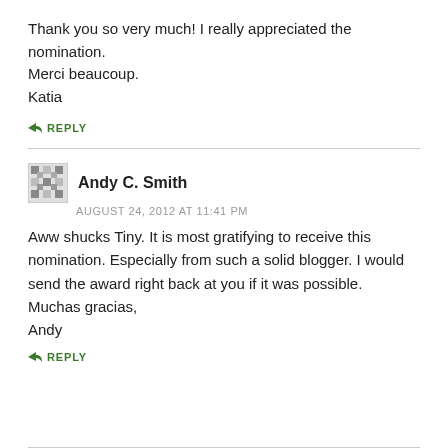Thank you so very much! I really appreciated the nomination.
Merci beaucoup.
Katia
↳ REPLY
Andy C. Smith
AUGUST 24, 2012 AT 11:41 PM
Aww shucks Tiny. It is most gratifying to receive this nomination. Especially from such a solid blogger. I would send the award right back at you if it was possible. Muchas gracias,
Andy
↳ REPLY